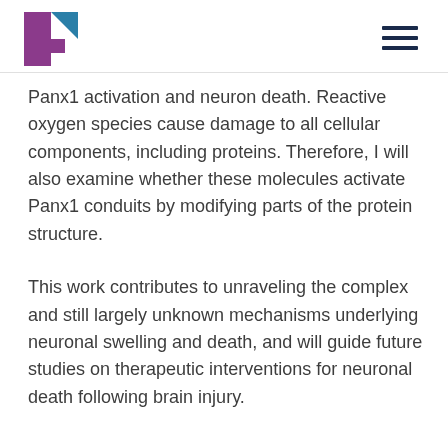[Logo and navigation menu]
Panx1 activation and neuron death. Reactive oxygen species cause damage to all cellular components, including proteins. Therefore, I will also examine whether these molecules activate Panx1 conduits by modifying parts of the protein structure.
This work contributes to unraveling the complex and still largely unknown mechanisms underlying neuronal swelling and death, and will guide future studies on therapeutic interventions for neuronal death following brain injury.